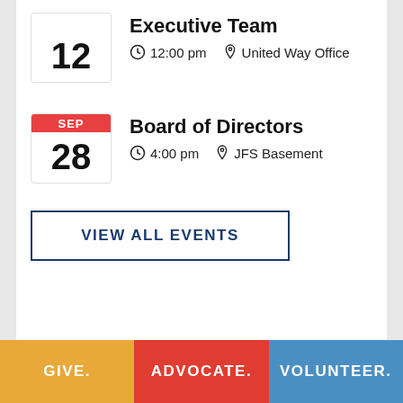Executive Team | 12:00 pm | United Way Office | Date: 12
Board of Directors | 4:00 pm | JFS Basement | Date: SEP 28
VIEW ALL EVENTS
GIVE. ADVOCATE. VOLUNTEER.